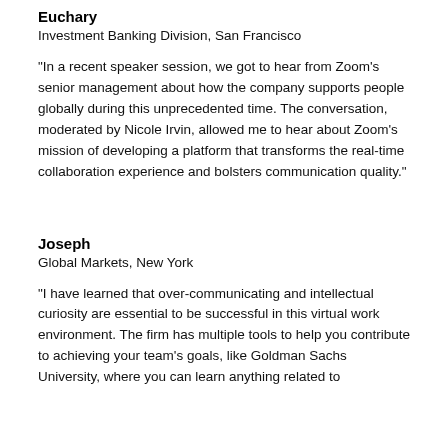Euchary
Investment Banking Division, San Francisco
“In a recent speaker session, we got to hear from Zoom’s senior management about how the company supports people globally during this unprecedented time. The conversation, moderated by Nicole Irvin, allowed me to hear about Zoom’s mission of developing a platform that transforms the real-time collaboration experience and bolsters communication quality.”
Joseph
Global Markets, New York
“I have learned that over-communicating and intellectual curiosity are essential to be successful in this virtual work environment.  The firm has multiple tools to help you contribute to achieving your team’s goals, like Goldman Sachs University, where you can learn anything related to